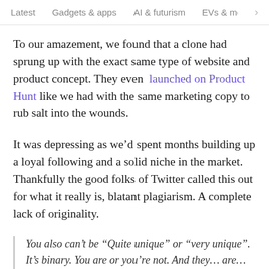Latest   Gadgets & apps   AI & futurism   EVs & mobil  >
To our amazement, we found that a clone had sprung up with the exact same type of website and product concept. They even launched on Product Hunt like we had with the same marketing copy to rub salt into the wounds.
It was depressing as we’d spent months building up a loyal following and a solid niche in the market. Thankfully the good folks of Twitter called this out for what it really is, blatant plagiarism. A complete lack of originality.
You also can’t be “Quite unique” or “very unique”. It’s binary. You are or you’re not. And they… are… not.